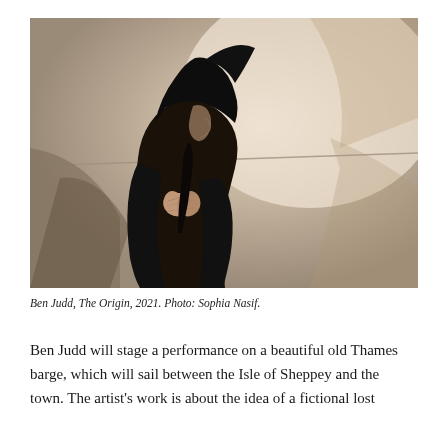[Figure (photo): A person wearing a black costume with a distinctive black angular hat, seen in profile, hands clasped together in a prayer-like gesture. The background is a draped white/cream fabric with a diagonal rope or cord visible. The figure is mostly in silhouette with dramatic lighting, and a shadow is cast on the fabric behind them.]
Ben Judd, The Origin, 2021. Photo: Sophia Nasif.
Ben Judd will stage a performance on a beautiful old Thames barge, which will sail between the Isle of Sheppey and the town. The artist's work is about the idea of a fictional lost